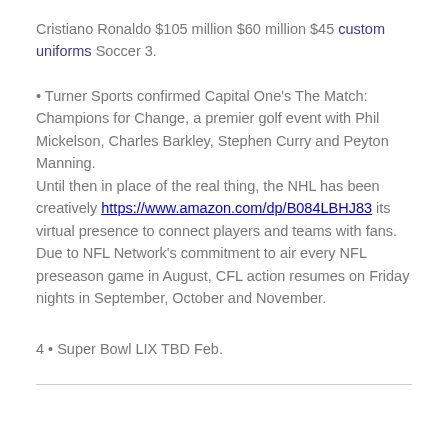Cristiano Ronaldo $105 million $60 million $45 custom uniforms Soccer 3.
• Turner Sports confirmed Capital One's The Match: Champions for Change, a premier golf event with Phil Mickelson, Charles Barkley, Stephen Curry and Peyton Manning.
Until then in place of the real thing, the NHL has been creatively https://www.amazon.com/dp/B084LBHJ83 its virtual presence to connect players and teams with fans.
Due to NFL Network's commitment to air every NFL preseason game in August, CFL action resumes on Friday nights in September, October and November.
4 • Super Bowl LIX TBD Feb.